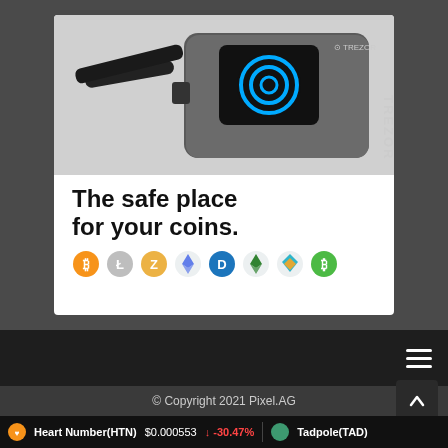[Figure (photo): Trezor hardware wallet advertisement showing a Trezor device connected via USB cable with a screen displaying a Coinbase logo. Text reads 'The safe place for your coins.' with cryptocurrency icons (Bitcoin, Litecoin, Zcash, Ethereum, Dash, Ethereum Classic, Gnosis, Bitcoin Cash) shown at the bottom.]
© Copyright 2021 Pixel.AG
Heart Number(HTN) $0.000553 ↓ -30.47% Tadpole(TAD)